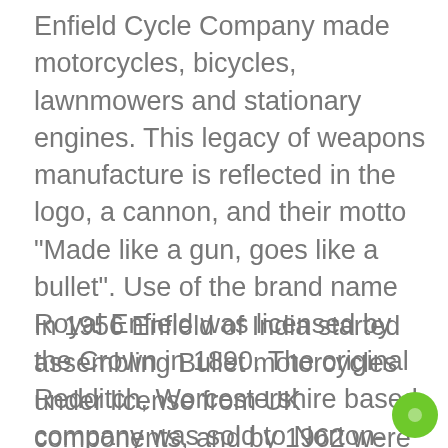Enfield Cycle Company made motorcycles, bicycles, lawnmowers and stationary engines. This legacy of weapons manufacture is reflected in the logo, a cannon, and their motto "Made like a gun, goes like a bullet". Use of the brand name Royal Enfield was licensed by the Crown in 1890. The original Redditch, Worcestershire based company was sold to Norton-Triumph-Villiers (NVT) in 1968. Production ceased in 1970 and the company was dissolved in 1971.
In 1956 Enfield of India started assembling Bullet motorcycles under license from UK components, and by 1962 were manufacturing complete bikes. Enfield of India bought the rights to use the Royal Enfield name in 1995. Royal Enfield production based in Chennai, continues and Royal Enfield is